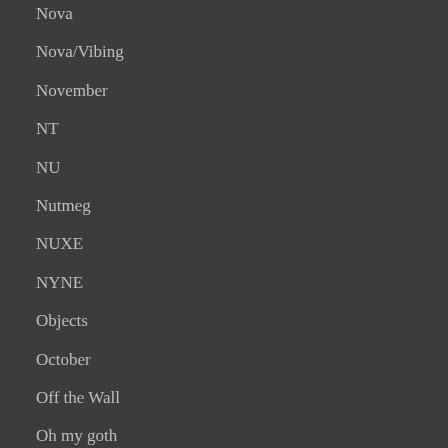Nova
Nova/Vibing
November
NT
NU
Nutmeg
NUXE
NYNE
Objects
October
Off the Wall
Oh my goth
Ohemo
OKAMI